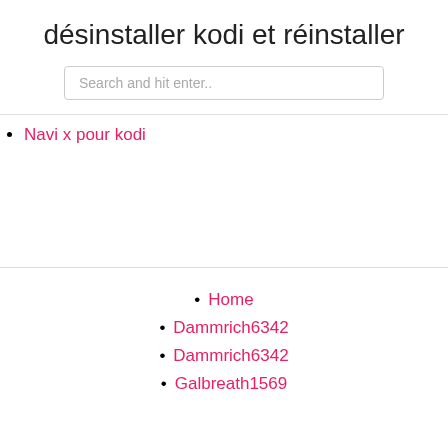désinstaller kodi et réinstaller
Search and hit enter..
Navi x pour kodi
Home
Dammrich6342
Dammrich6342
Galbreath1569